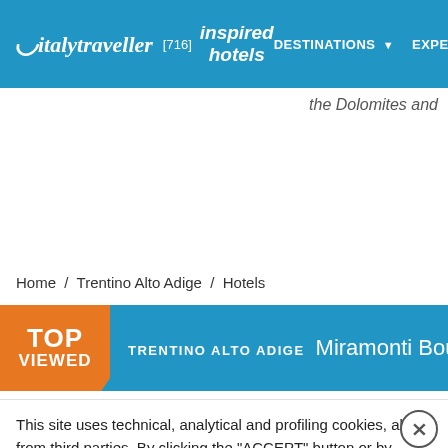italytraveller [716] inspired hotels | DESTINATIONS | EXPER
the Dolomites and
Home / Trentino Alto Adige / Hotels
TOP VIEWED  TRENTINO ALTO ADIGE  Miramonti Boutique Hotel  Avel
This site uses technical, analytical and profiling cookies, also from third parties. By clicking the "ACCEPT" button or by closing this banner, you consent to the use of cookies. If you want to learn more or opt out of all or some cookies, see the Privacy Policy.
Accept